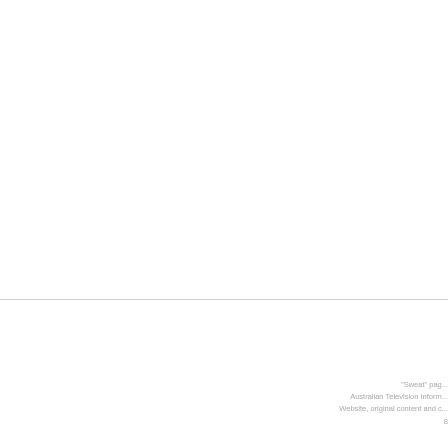"Sweat" page
Australian Television Inform...
Website, original content and c...
8